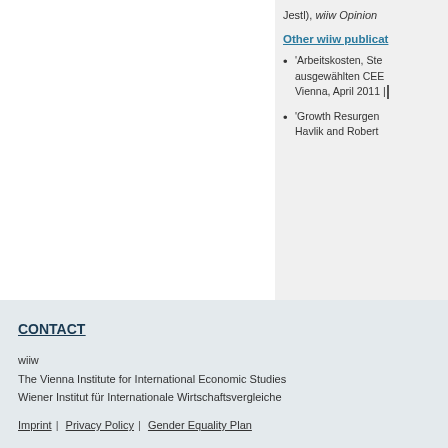Jestl), wiiw Opinion...
Other wiiw publications
'Arbeitskosten, Ste... ausgewählten CEE... Vienna, April 2011 |...
'Growth Resurgence... Havlik and Robert...
CONTACT
wiiw
The Vienna Institute for International Economic Studies
Wiener Institut für Internationale Wirtschaftsvergleiche
Imprint | Privacy Policy | Gender Equality Plan